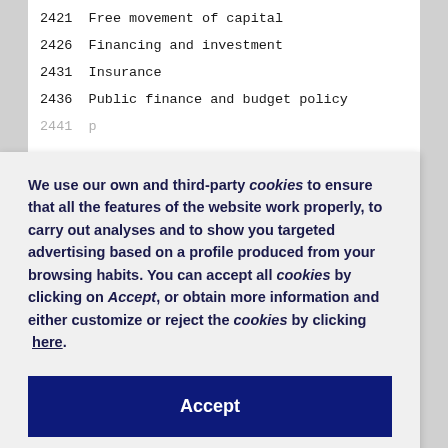2421  Free movement of capital
2426  Financing and investment
2431  Insurance
2436  Public finance and budget policy
We use our own and third-party cookies to ensure that all the features of the website work properly, to carry out analyses and to show you targeted advertising based on a profile produced from your browsing habits. You can accept all cookies by clicking on Accept, or obtain more information and either customize or reject the cookies by clicking here.
Accept
32 EDUCATION AND COMMUNICATIONS
3206  Education
3211  Teaching
3216  Organisation of teaching
3221  Documentation